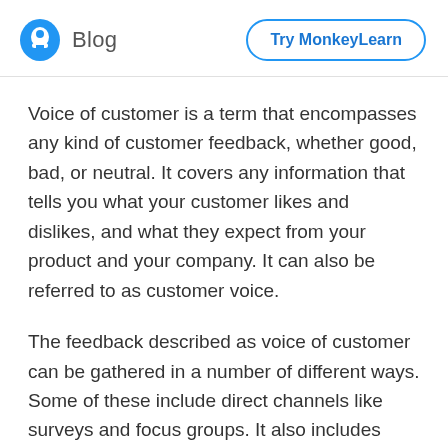Blog   Try MonkeyLearn
Voice of customer is a term that encompasses any kind of customer feedback, whether good, bad, or neutral. It covers any information that tells you what your customer likes and dislikes, and what they expect from your product and your company. It can also be referred to as customer voice.
The feedback described as voice of customer can be gathered in a number of different ways. Some of these include direct channels like surveys and focus groups. It also includes indirect feedback which can